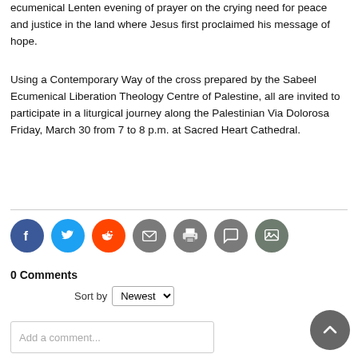ecumenical Lenten evening of prayer on the crying need for peace and justice in the land where Jesus first proclaimed his message of hope.
Using a Contemporary Way of the cross prepared by the Sabeel Ecumenical Liberation Theology Centre of Palestine, all are invited to participate in a liturgical journey along the Palestinian Via Dolorosa Friday, March 30 from 7 to 8 p.m. at Sacred Heart Cathedral.
[Figure (infographic): Social sharing icons: Facebook (blue), Twitter (light blue), Reddit (orange), Email (grey), Print (grey), Comment (grey), Image (grey-green)]
0 Comments
Sort by Newest
Add a comment...